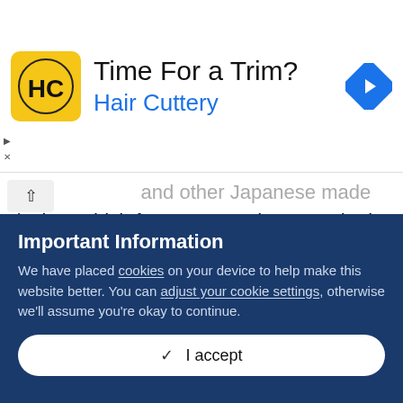[Figure (infographic): Advertisement banner for Hair Cuttery with logo (HC in yellow square), heading 'Time For a Trim?', subtitle 'Hair Cuttery', and a blue diamond navigation icon on the right. Small play and close controls on the left edge.]
/anime which feature an orchestra.  The in game music definitely sounds out of place when compared to the reverberating  fantastical and haunting melody's of the original 16-bit game.  The instruments used don't seem to fit what is happening and fall short overall.  It's a good thing Square-Enix included the option to switch between the remixed and original musical scores.  I found myself returning to the original score after playing only a short time.  I turn on the remixed music when entering new areas to hear the new versions of songs, but once
Important Information
We have placed cookies on your device to help make this website better. You can adjust your cookie settings, otherwise we'll assume you're okay to continue.
✓  I accept